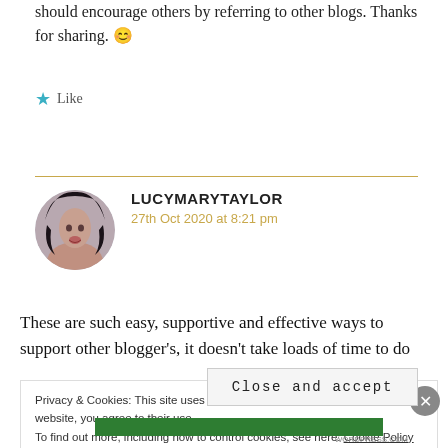should encourage others by referring to other blogs. Thanks for sharing. 😊
Like
LUCYMARYTAYLOR
27th Oct 2020 at 8:21 pm
These are such easy, supportive and effective ways to support other blogger's, it doesn't take loads of time to do
Privacy & Cookies: This site uses cookies. By continuing to use this website, you agree to their use.
To find out more, including how to control cookies, see here: Cookie Policy
Close and accept